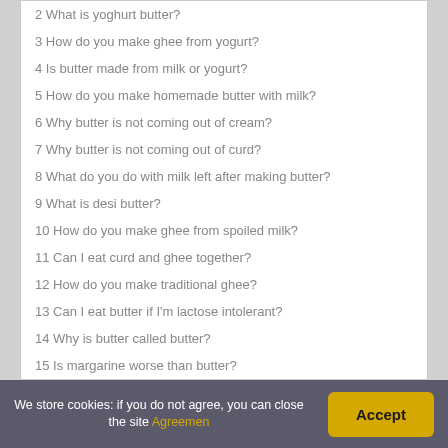2 What is yoghurt butter?
3 How do you make ghee from yogurt?
4 Is butter made from milk or yogurt?
5 How do you make homemade butter with milk?
6 Why butter is not coming out of cream?
7 Why butter is not coming out of curd?
8 What do you do with milk left after making butter?
9 What is desi butter?
10 How do you make ghee from spoiled milk?
11 Can I eat curd and ghee together?
12 How do you make traditional ghee?
13 Can I eat butter if I'm lactose intolerant?
14 Why is butter called butter?
15 Is margarine worse than butter?
We store cookies: if you do not agree, you can close the site Agreement